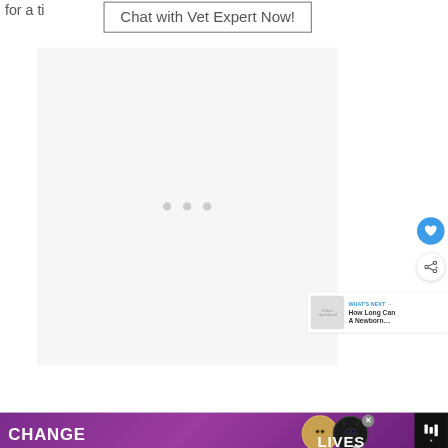for a ti…
[Figure (screenshot): Button labeled 'Chat with Vet Expert Now!' with a rectangular border]
[Figure (screenshot): White/light gray content area with three gray dots (loading indicator) in the center]
[Figure (screenshot): Floating blue circular heart/favorite button on right side]
[Figure (screenshot): Floating white circular share button on right side]
[Figure (screenshot): What's Next panel with thumbnail and text 'How Long Can A Newborn...' with arrow]
[Figure (screenshot): Bottom banner advertisement with purple background showing two cat faces, text 'CHANGE LIVES', close X button, and a logo on the right]